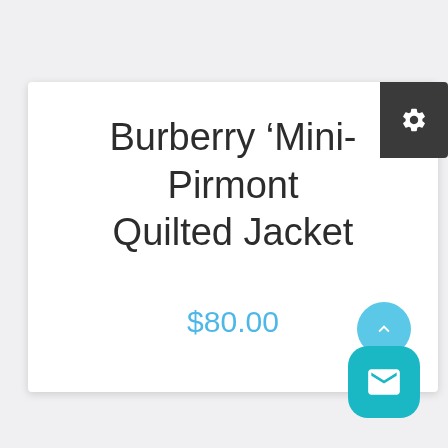Burberry ‘Mini-Pirmont Quilted Jacket
$80.00
[Figure (screenshot): Settings gear icon button in dark background, top right corner of card]
[Figure (illustration): Floating action buttons: an upward arrow circle on top and a teal rounded square with mail envelope icon below]